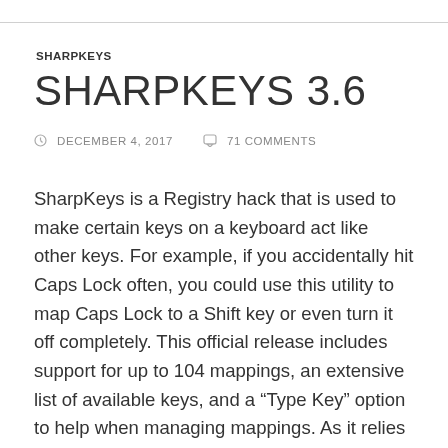SHARPKEYS
SHARPKEYS 3.6
DECEMBER 4, 2017  71 COMMENTS
SharpKeys is a Registry hack that is used to make certain keys on a keyboard act like other keys. For example, if you accidentally hit Caps Lock often, you could use this utility to map Caps Lock to a Shift key or even turn it off completely. This official release includes support for up to 104 mappings, an extensive list of available keys, and a “Type Key” option to help when managing mappings. As it relies on internal support within Windows NT, Windows 2000, Windows XP, Windows Server 2003, Windows Vista, Windows 7, Windows 8, or Windows 10 you must be running one of these OS’s for this Registry hack to work.